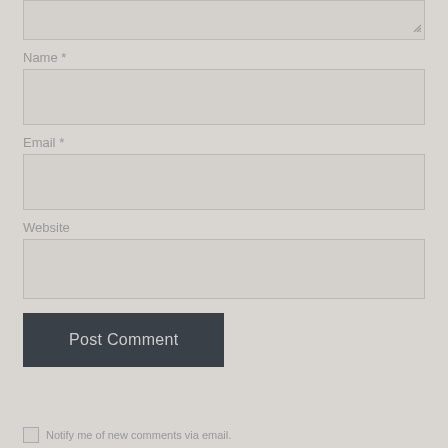[Figure (screenshot): Top portion of a comment textarea input box with resize handle visible at bottom-right]
Name *
[Figure (screenshot): Name text input field (empty)]
Email *
[Figure (screenshot): Email text input field (empty)]
Website
[Figure (screenshot): Website text input field (empty)]
Post Comment
Notify me of new comments via email.